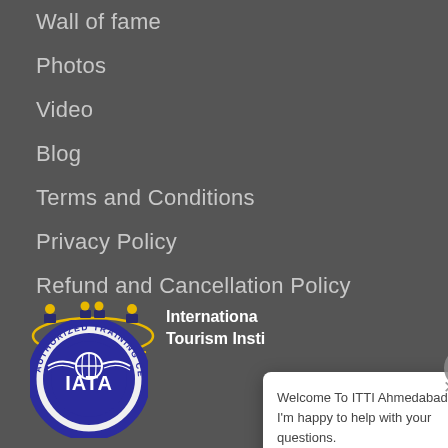Wall of fame
Photos
Video
Blog
Terms and Conditions
Privacy Policy
Refund and Cancellation Policy
[Figure (logo): International Tourism Institute logo with two figures and orbit design in yellow and dark blue]
International Tourism Insti
[Figure (logo): IATA Authorized Training Center circular badge in blue and white]
[Figure (screenshot): Chat popup overlay showing ITTI chatbot assistant with message: Welcome To ITTI Ahmedabad. I'm happy to help with your questions.]
Welcome To ITTI Ahmedabad. I'm happy to help with your questions.